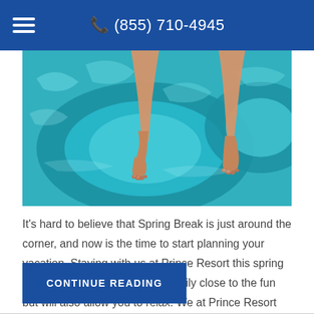(855) 710-4945
[Figure (photo): Person sitting on a turquoise inflatable ring float in a swimming pool, feet dangling in clear blue-green water.]
It's hard to believe that Spring Break is just around the corner, and now is the time to start planning your vacation. Staying with us at Prince Resort this spring break will not only keep your family close to the fun but will also allow you to relax. We at Prince Resort have come up …
CONTINUE READING